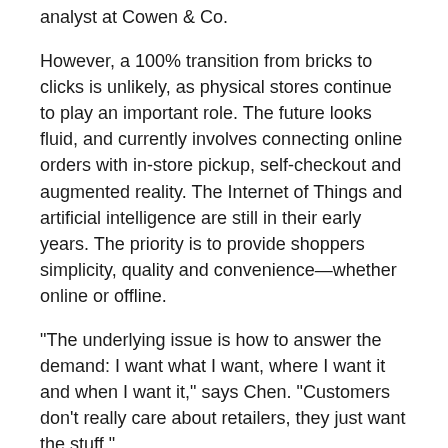analyst at Cowen & Co.
However, a 100% transition from bricks to clicks is unlikely, as physical stores continue to play an important role. The future looks fluid, and currently involves connecting online orders with in-store pickup, self-checkout and augmented reality. The Internet of Things and artificial intelligence are still in their early years. The priority is to provide shoppers simplicity, quality and convenience—whether online or offline.
"The underlying issue is how to answer the demand: I want what I want, where I want it and when I want it," says Chen. "Customers don't really care about retailers, they just want the stuff."
In the US alone, ecommerce penetration as a percentage of total retail sales has more than tripled to 8.3% at the end of 2016 from 2.7% in early 2006, and is expected to reach 14% by 2022, according to research from Cowen.  Yet China has already surpassed the US as the world's largest ecommerce market, according to Forrester Research. Latin America and the Middle East, as well as South Africa and Nigeria, are also